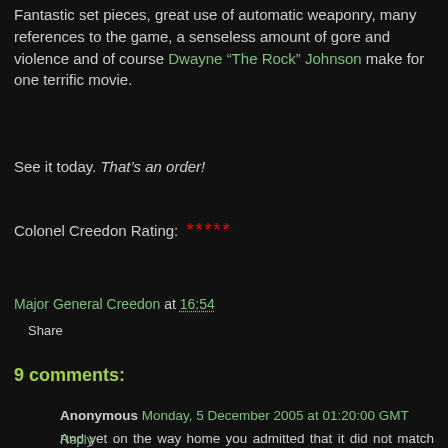Fantastic set pieces, great use of automatic weaponry, many references to the game, a senseless amount of gore and violence and of course Dwayne “The Rock” Johnson make for one terrific movie.
See it today. That’s an order!
Colonel Creedon Rating: *****
Major General Creedon at 16:54
Share
9 comments:
Anonymous Monday, 5 December 2005 at 01:20:00 GMT
And yet on the way home you admitted that it did not match the "masterpiece" that was resident evil and what really scares me is that I AGREED!
Reply